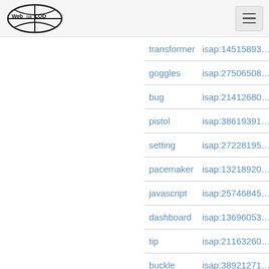Web isa LOD [logo] [hamburger menu]
| term | isap id |
| --- | --- |
| transformer | isap:14515893… |
| goggles | isap:27506508… |
| bug | isap:21412680… |
| pistol | isap:38619391… |
| setting | isap:27228195… |
| pacemaker | isap:13218920… |
| javascript | isap:25746845… |
| dashboard | isap:13696053… |
| tip | isap:21163260… |
| buckle | isap:38921271… |
| macs | isap:30127733… |